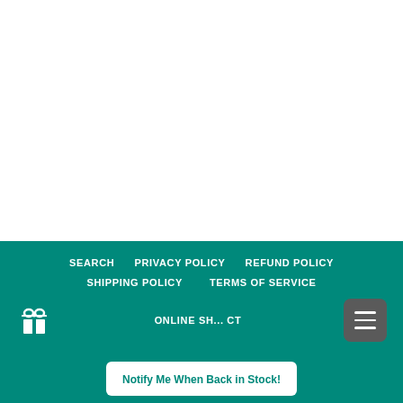[Figure (screenshot): White blank area occupying top portion of the page]
SEARCH   PRIVACY POLICY   REFUND POLICY   SHIPPING POLICY   TERMS OF SERVICE   ONLINE SH... CT
Notify Me When Back in Stock!